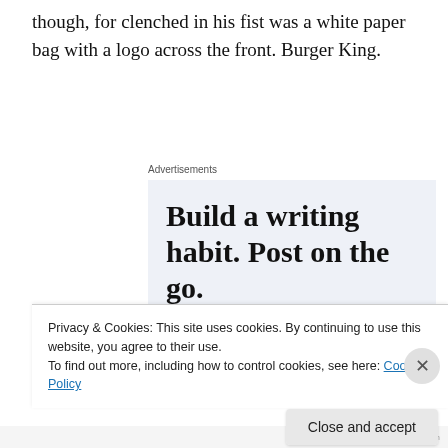though, for clenched in his fist was a white paper bag with a logo across the front. Burger King.
[Figure (screenshot): WordPress advertisement banner with light blue-grey background showing the text 'Build a writing habit. Post on the go.' with a 'GET THE APP' call to action and WordPress logo icon.]
Privacy & Cookies: This site uses cookies. By continuing to use this website, you agree to their use. To find out more, including how to control cookies, see here: Cookie Policy
Close and accept